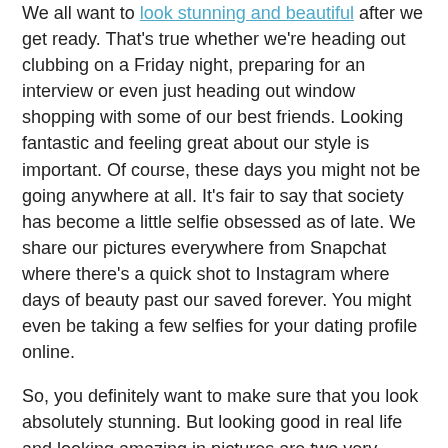We all want to look stunning and beautiful after we get ready. That's true whether we're heading out clubbing on a Friday night, preparing for an interview or even just heading out window shopping with some of our best friends. Looking fantastic and feeling great about our style is important. Of course, these days you might not be going anywhere at all. It's fair to say that society has become a little selfie obsessed as of late. We share our pictures everywhere from Snapchat where there's a quick shot to Instagram where days of beauty past our saved forever. You might even be taking a few selfies for your dating profile online.
So, you definitely want to make sure that you look absolutely stunning. But looking good in real life and looking amazing in pictures are two very different things. In fact, you can appear quite different in pictures, and an example is symmetry.
People are naturally attracted to symmetrical faces. But stare at a shot of your face long enough and you'll probably notice something. Shockingly, your face isn't quite symmetrical.